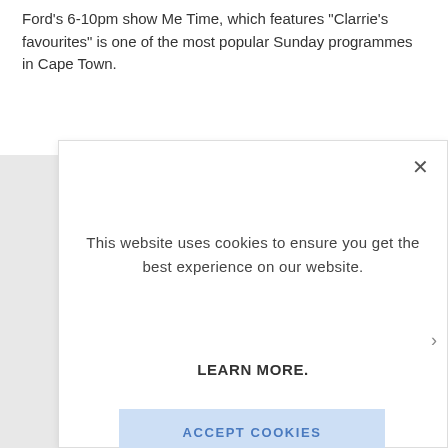Ford’s 6-10pm show Me Time, which features “Clarrie’s favourites” is one of the most popular Sunday programmes in Cape Town.
[Figure (screenshot): Cookie consent modal dialog with close button (X), message 'This website uses cookies to ensure you get the best experience on our website.', a 'LEARN MORE.' link in bold, and a light blue 'ACCEPT COOKIES' button.]